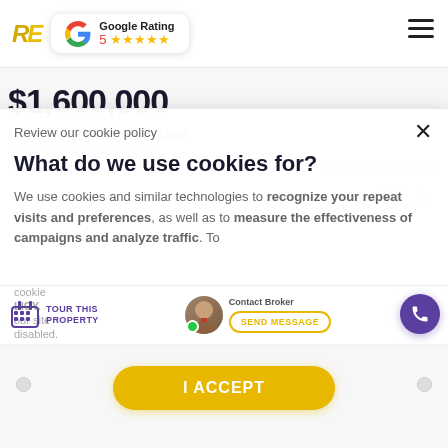RE | Google Rating 5 ★★★★★
$1,600,000
Renton R-4 Development Land
6215 NE 4th St, Renton, WA,
Review our cookie policy
What do we use cookies for?
We use cookies and similar technologies to recognize your repeat visits and preferences, as well as to measure the effectiveness of campaigns and analyze traffic. To
TOUR THIS PROPERTY
Contact Broker
SEND MESSAGE
I ACCEPT